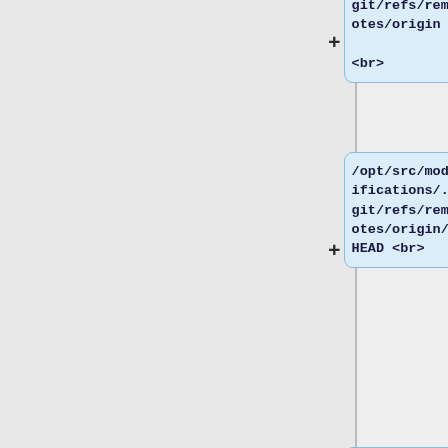[Figure (flowchart): A vertical flowchart/tree diagram showing file system paths as nodes. Each node is a rounded rectangle with light blue background containing a monospace path string. Nodes are connected with + connector symbols on the left side. Paths shown include: git/refs/remotes/origin <br>, /opt/src/modifications/.git/refs/remotes/origin/HEAD <br>, /opt/src/modifications/.git/refs/tags <br>, /opt/src/modifications/tasks <br>, /opt/src/modifications/tasks/new-task-]